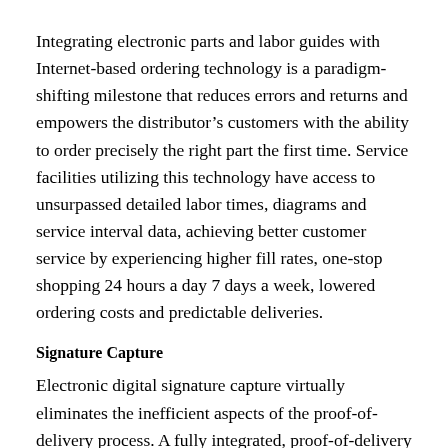Integrating electronic parts and labor guides with Internet-based ordering technology is a paradigm-shifting milestone that reduces errors and returns and empowers the distributor's customers with the ability to order precisely the right part the first time. Service facilities utilizing this technology have access to unsurpassed detailed labor times, diagrams and service interval data, achieving better customer service by experiencing higher fill rates, one-stop shopping 24 hours a day 7 days a week, lowered ordering costs and predictable deliveries.
Signature Capture
Electronic digital signature capture virtually eliminates the inefficient aspects of the proof-of-delivery process. A fully integrated, proof-of-delivery solution enables you to digitally imprint proof-of-delivery signatures on your